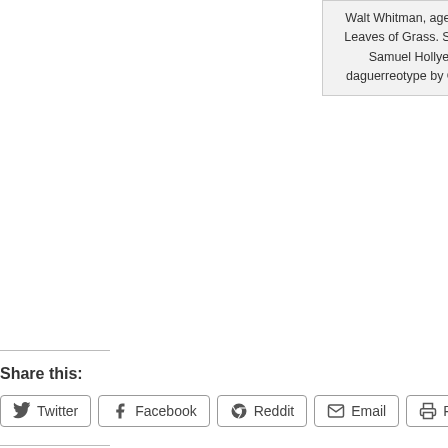Walt Whitman, age 35, frontispiece Leaves of Grass. Steel engraving by Samuel Hollyer from a lost daguerreotype by Gabriel Harrison
source
Share this:
Twitter
Facebook
Reddit
Email
Print
Like this:
Loading...
Written by (Roughly) Daily
July 4, 2018 at 1:01 am
Posted in Uncategorized
Tagged with history, July 4, Leaves of Grass, Walt Whitman